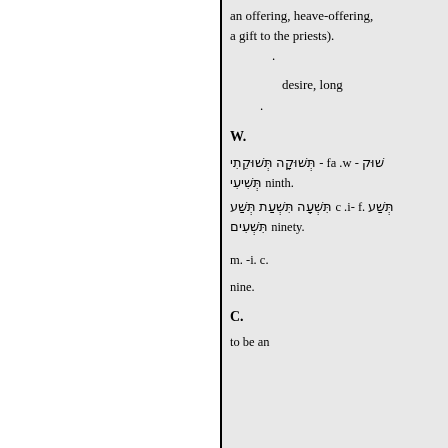an offering, heave-offering, a gift to the priests).
.
desire, long
.
W.
שוק - w. af - תְּשׁוּקָה תְּשׁוּקֵתִי .ninth תְּשִׁיעִי
תְּשַׁע .f -i. c תִּשְׁעָה תִּשְׁעַת תְּשַׁע .ninety תִּשְׁעִים
m. -i. c.
nine.
C.
to be an